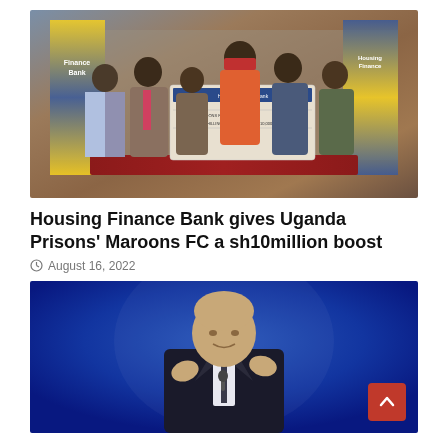[Figure (photo): Group photo of people holding a large ceremonial cheque from Housing Finance Bank to Uganda Prisons' Maroons FC for ten million shillings, with Housing Finance Bank banners in the background]
Housing Finance Bank gives Uganda Prisons’ Maroons FC a sh10million boost
August 16, 2022
[Figure (photo): Man in a dark suit speaking at a podium or event, gesturing with both hands raised, against a blue background]